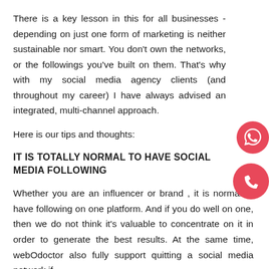There is a key lesson in this for all businesses - depending on just one form of marketing is neither sustainable nor smart. You don't own the networks, or the followings you've built on them. That's why with my social media agency clients (and throughout my career) I have always advised an integrated, multi-channel approach.
Here is our tips and thoughts:
IT IS TOTALLY NORMAL TO HAVE SOCIAL MEDIA FOLLOWING
Whether you are an influencer or brand , it is normal to have following on one platform. And if you do well on one, then we do not think it's valuable to concentrate on it in order to generate the best results. At the same time, webOdoctor also fully support quitting a social media network if